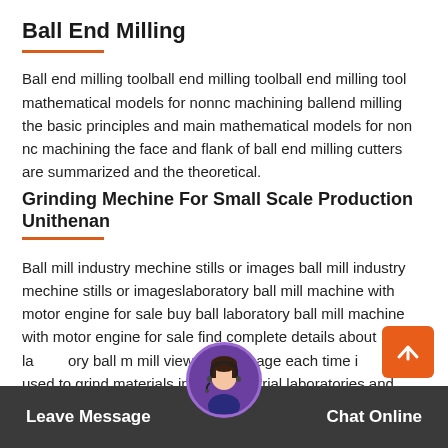Ball End Milling
Ball end milling toolball end milling toolball end milling tool mathematical models for nonnc machining ballend milling the basic principles and main mathematical models for non nc machining the face and flank of ball end milling cutters are summarized and the theoretical.
Grinding Mechine For Small Scale Production Unithenan
Ball mill industry mechine stills or images ball mill industry mechine stills or imageslaboratory ball mill machine with motor engine for sale buy ball laboratory ball mill machine with motor engine for sale find complete details about laboratory ball m mill view larger image each time it visits it is used to grind materials in half industrial laboratories and other small